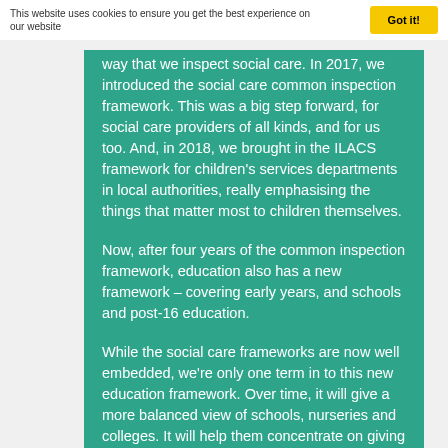This website uses cookies to ensure you get the best experience on our website
way that we inspect social care. In 2017, we introduced the social care common inspection framework. This was a big step forward, for social care providers of all kinds, and for us too. And, in 2018, we brought in the ILACS framework for children's services departments in local authorities, really emphasising the things that matter most to children themselves.
Now, after four years of the common inspection framework, education also has a new framework – covering early years, and schools and post-16 education.
While the social care frameworks are now well embedded, we're only one term in to this new education framework. Over time, it will give a more balanced view of schools, nurseries and colleges. It will help them concentrate on giving the best possible education and reduce anxiety